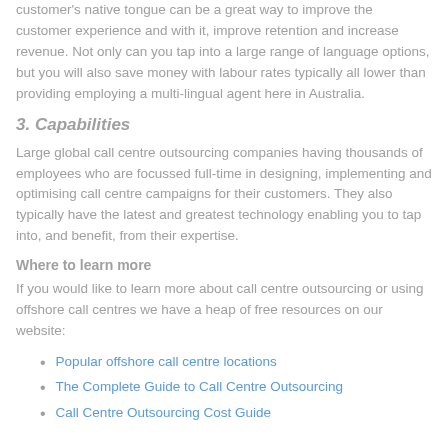customer's native tongue can be a great way to improve the customer experience and with it, improve retention and increase revenue. Not only can you tap into a large range of language options, but you will also save money with labour rates typically all lower than providing employing a multi-lingual agent here in Australia.
3. Capabilities
Large global call centre outsourcing companies having thousands of employees who are focussed full-time in designing, implementing and optimising call centre campaigns for their customers. They also typically have the latest and greatest technology enabling you to tap into, and benefit, from their expertise.
Where to learn more
If you would like to learn more about call centre outsourcing or using offshore call centres we have a heap of free resources on our website:
Popular offshore call centre locations
The Complete Guide to Call Centre Outsourcing
Call Centre Outsourcing Cost Guide